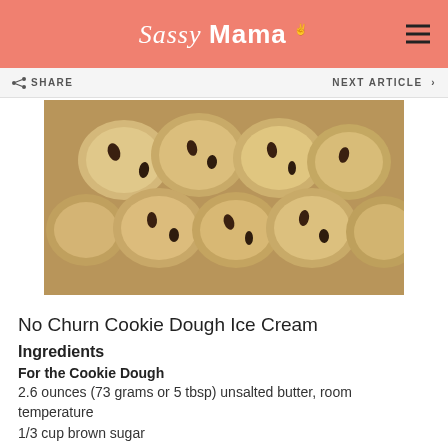Sassy Mama
[Figure (photo): Close-up photo of chocolate chip cookie dough balls piled together]
No Churn Cookie Dough Ice Cream
Ingredients
For the Cookie Dough
2.6 ounces (73 grams or 5 tbsp) unsalted butter, room temperature
1/3 cup brown sugar
¼ cup granulated sugar
¼ teaspoon vanilla extract
1 cup all-purpose flour